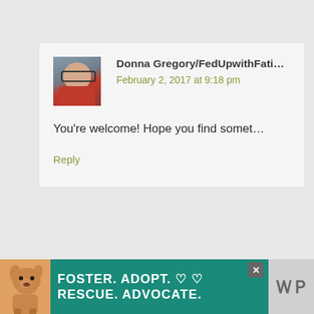Donna Gregory/FedUpwithFati...
February 2, 2017 at 9:18 pm
You’re welcome! Hope you find somet...
Reply
[Figure (infographic): Advertisement banner: dog image with text FOSTER. ADOPT. ♡ ♡ RESCUE. ADVOCATE. on teal background with close and mute buttons]